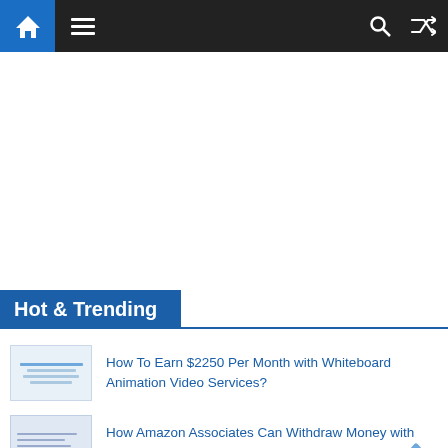Navigation bar with home icon, hamburger menu, search and shuffle icons
Hot & Trending
How To Earn $2250 Per Month with Whiteboard Animation Video Services?
How Amazon Associates Can Withdraw Money with Payoneer Account?
How to Transfer Money from PayPal to